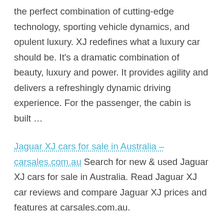the perfect combination of cutting-edge technology, sporting vehicle dynamics, and opulent luxury. XJ redefines what a luxury car should be. It's a dramatic combination of beauty, luxury and power. It provides agility and delivers a refreshingly dynamic driving experience. For the passenger, the cabin is built …
Jaguar XJ cars for sale in Australia – carsales.com.au Search for new & used Jaguar XJ cars for sale in Australia. Read Jaguar XJ car reviews and compare Jaguar XJ prices and features at carsales.com.au.
Jaguar® XJ – Luxury Saloon Car – Jaguar® Australia The Jaguar XJ redefines what a luxury saloon car should be. Discover unrivalled …